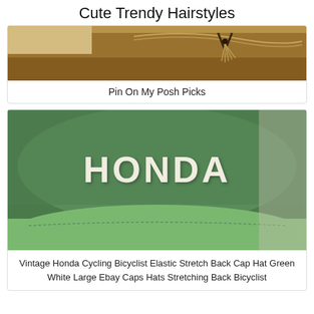Cute Trendy Hairstyles
[Figure (photo): Close-up photo of a straw/western hat with decorative rope/cord tie, brown tones]
Pin On My Posh Picks
[Figure (photo): Green Honda branded cycling cap hat with white lettering 'HONDA', showing the brim and crown]
Vintage Honda Cycling Bicyclist Elastic Stretch Back Cap Hat Green White Large Ebay Caps Hats Stretching Back Bicyclist